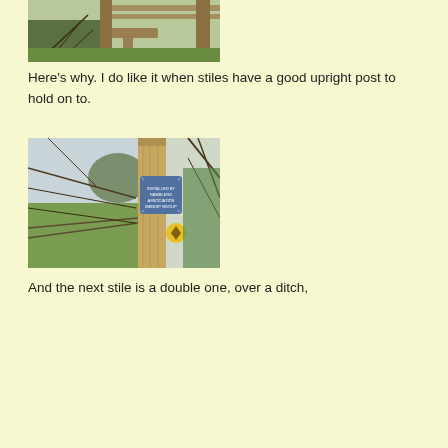[Figure (photo): Photo of a wooden stile with a horizontal plank step and an upright post to hold on to, surrounded by bare branches and green vegetation with a wooden fence in the background.]
Here’s why. I do like it when stiles have a good upright post to hold on to.
[Figure (photo): Photo of a wooden post with a blue sign reading 'INSTALLED BY RAMBLERS ASSOCIATION MENDIP GROUP' and a yellow waymarker disc, surrounded by tangled branches with a green field visible in the background.]
And the next stile is a double one, over a ditch,